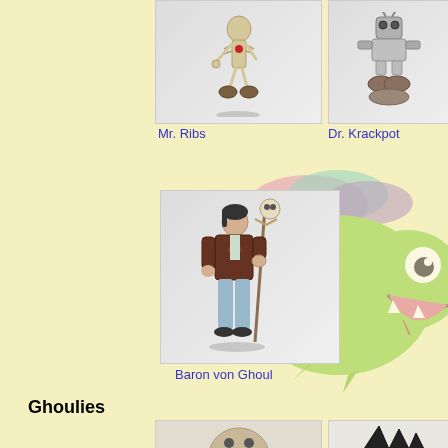[Figure (illustration): Mr. Ribs character - skeleton figure with brown boots]
[Figure (illustration): Dr. Krackpot character - robot/mechanical figure]
Mr. Ribs
Dr. Krackpot
[Figure (illustration): Large green spiky creature decorative background element]
[Figure (illustration): Baron von Ghoul character - man in brown coat holding a staff with skull]
Baron von Ghoul
Ghoulies
[Figure (illustration): Partial view of a bald ghoul character at bottom left]
[Figure (illustration): Partial view of a dark bird/claw creature at bottom right]